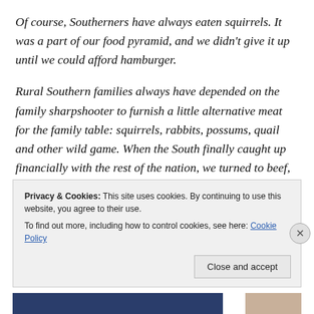Of course, Southerners have always eaten squirrels. It was a part of our food pyramid, and we didn't give it up until we could afford hamburger.
Rural Southern families always have depended on the family sharpshooter to furnish a little alternative meat for the family table: squirrels, rabbits, possums, quail and other wild game. When the South finally caught up financially with the rest of the nation, we turned to beef, lamb, etc. If wild game is involved in Southern meals today, it is likely duck or deer meat. But there are those
Privacy & Cookies: This site uses cookies. By continuing to use this website, you agree to their use.
To find out more, including how to control cookies, see here: Cookie Policy
Close and accept